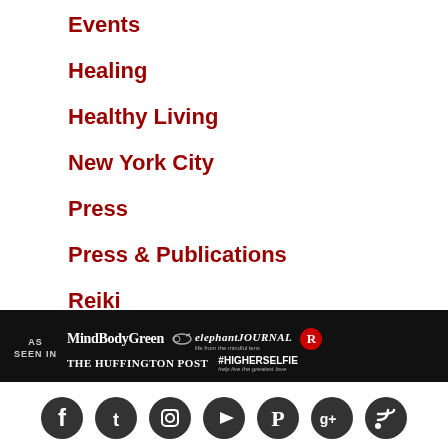Events
Healing
Healthy Living
New York City
Press
Press & Publications
Reiki
Starseeds
Uncategorized
Zines
[Figure (logo): As Seen In footer bar with MindBodyGreen, elephant JOURNAL, R logo, The Huffington Post, and #HIGHERSELFIE logos on black background]
[Figure (infographic): Social media icons bar: Facebook, Twitter, Instagram, YouTube, Pinterest, Google+, RSS]